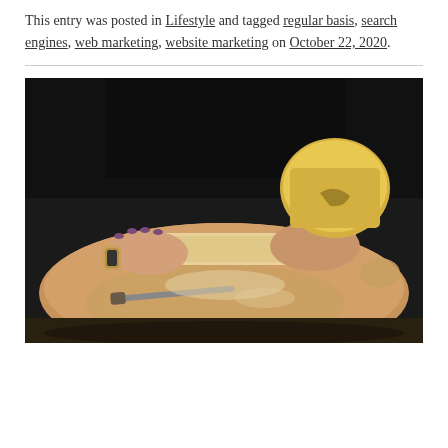This entry was posted in Lifestyle and tagged regular basis, search engines, web marketing, website marketing on October 22, 2020.
[Figure (photo): A person with painted nails and a gold watch rolling dough on a round wooden board with a rolling pin, flour dusted surface, dark background.]